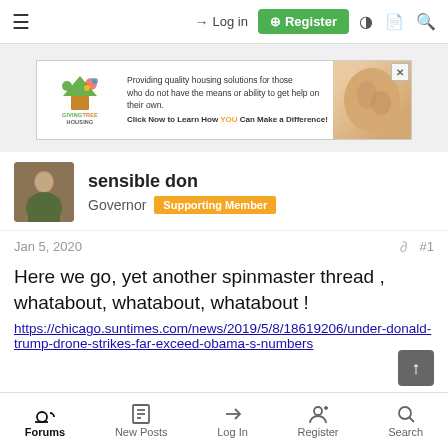Log in | Register
[Figure (other): Advertisement banner for GivingTreeHousing: 'Providing quality housing solutions for those who do not have the means or ability to get help on their own. Click Now to Learn How YOU Can Make a Difference!']
sensible don
Governor  Supporting Member
Jan 5, 2020   #1
Here we go, yet another spinmaster thread , whatabout, whatabout, whatabout !
https://chicago.suntimes.com/news/2019/5/8/18619206/under-donald-trump-drone-strikes-far-exceed-obama-s-numbers
Forums  New Posts  Log In  Register  Search